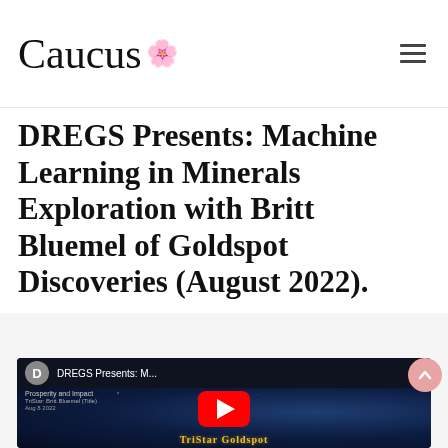Caucus [logo with rose]
DREGS Presents: Machine Learning in Minerals Exploration with Britt Bluemel of Goldspot Discoveries (August 2022).
[Figure (screenshot): YouTube video embed thumbnail showing 'DREGS Presents: M...' with a YouTube play button over a dark blue/space background. Channel avatar showing letter D, video title text, three-dot menu. Bottom shows 'Prosperity and Impact' text and TriStar Goldspot logo.]